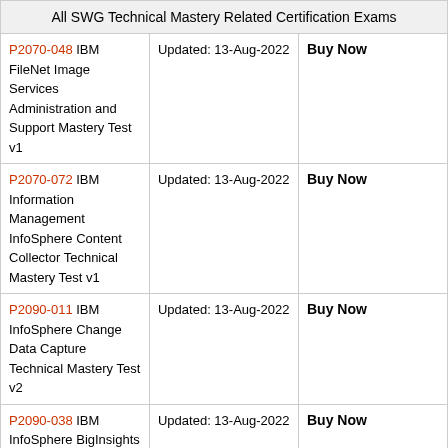| All SWG Technical Mastery Related Certification Exams |  |  |
| --- | --- | --- |
| P2070-048 IBM FileNet Image Services Administration and Support Mastery Test v1 | Updated: 13-Aug-2022 | Buy Now |
| P2070-072 IBM Information Management InfoSphere Content Collector Technical Mastery Test v1 | Updated: 13-Aug-2022 | Buy Now |
| P2090-011 IBM InfoSphere Change Data Capture Technical Mastery Test v2 | Updated: 13-Aug-2022 | Buy Now |
| P2090-038 IBM InfoSphere BigInsights Technical Mastery Test v2 | Updated: 13-Aug-2022 | Buy Now |
| P2090-045 IBM InfoSphere Information Server for Data Integration Fundamentals Technical Mastery Test v1 | Updated: 13-Aug-2022 | Buy Now |